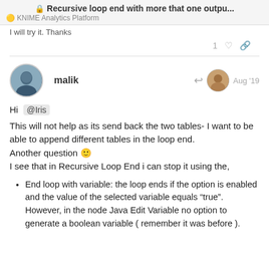🔒 Recursive loop end with more that one outpu...
🟡 KNIME Analytics Platform
I will try it. Thanks
1 ♡ 🔗
malik  Aug '19
Hi @Iris
This will not help as its send back the two tables- I want to be able to append different tables in the loop end.
Another question 🙂
I see that in Recursive Loop End i can stop it using the,
End loop with variable: the loop ends if the option is enabled and the value of the selected variable equals "true". However, in the node Java Edit Variable no option to generate a boolean variable ( remember it was before ).